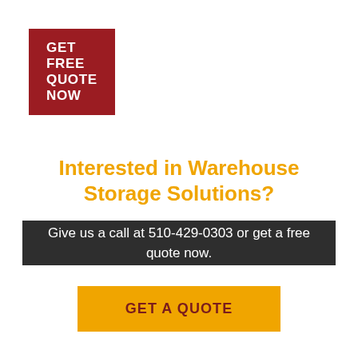GET FREE QUOTE NOW
Interested in Warehouse Storage Solutions?
Give us a call at 510-429-0303 or get a free quote now.
GET A QUOTE